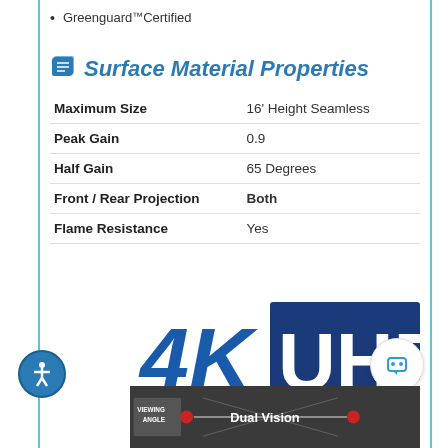Greenguard™ Certified
Surface Material Properties
| Property | Value |
| --- | --- |
| Maximum Size | 16' Height Seamless |
| Peak Gain | 0.9 |
| Half Gain | 65 Degrees |
| Front / Rear Projection | Both |
| Flame Resistance | Yes |
[Figure (logo): 4K UHD logo — '4K' in bold blue on white, 'UHD' in bold white on dark blue background]
[Figure (screenshot): Viewing Angle diagram bar with 'VIEWING ANGLE' label on left and 'Dual Vision' label on right, dark background with red dots and light lines]